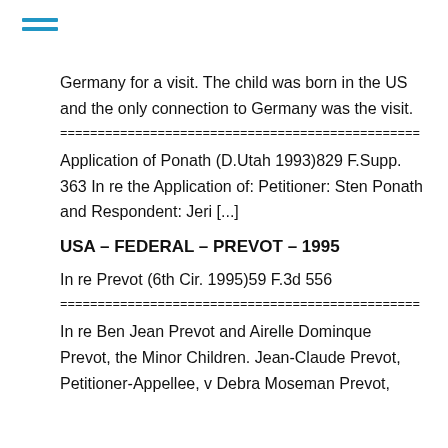Germany for a visit. The child was born in the US and the only connection to Germany was the visit.
================================================
Application of Ponath (D.Utah 1993)829 F.Supp. 363 In re the Application of: Petitioner: Sten Ponath and Respondent: Jeri [...]
USA – FEDERAL – PREVOT – 1995
In re Prevot (6th Cir. 1995)59 F.3d 556
================================================
In re Ben Jean Prevot and Airelle Dominque Prevot, the Minor Children. Jean-Claude Prevot, Petitioner-Appellee, v Debra Moseman Prevot,